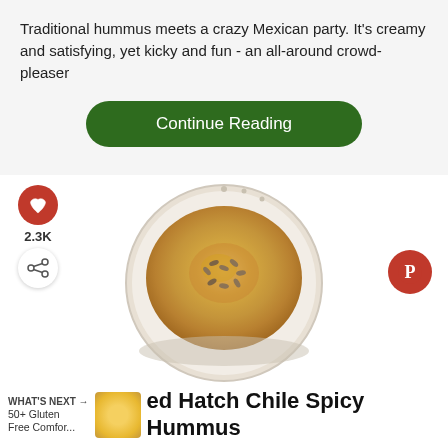Traditional hummus meets a crazy Mexican party. It's creamy and satisfying, yet kicky and fun - an all-around crowd-pleaser
Continue Reading
[Figure (photo): A bowl of hummus topped with seeds and olive oil, viewed from above, circular crop]
2.3K
WHAT'S NEXT →
50+ Gluten Free Comfor...
ed Hatch Chile Spicy Hummus
Photo Credit: www.fearlessdining.com
[Figure (infographic): take the pledge → banner ad with RELEASE logo and ad marker]